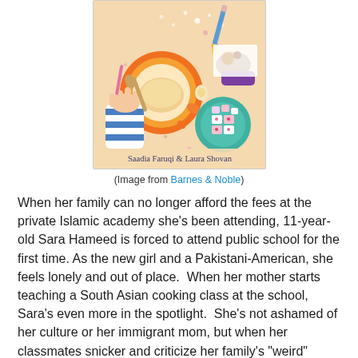[Figure (illustration): Book cover illustration showing an overhead view of a table with cooking/baking items: a large orange plate/bowl, colorful desserts on a teal plate, scattered candy/food items, hands with striped sleeve, and text 'Saadia Faruqi & Laura Shovan' at the bottom.]
(Image from Barnes & Noble)
When her family can no longer afford the fees at the private Islamic academy she's been attending, 11-year-old Sara Hameed is forced to attend public school for the first time. As the new girl and a Pakistani-American, she feels lonely and out of place.  When her mother starts teaching a South Asian cooking class at the school, Sara's even more in the spotlight.  She's not ashamed of her culture or her immigrant mom, but when her classmates snicker and criticize her family's "weird" ways, it makes her feel like even more of an outcast.